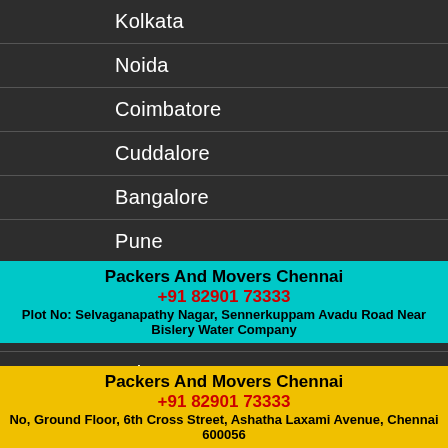Kolkata
Noida
Coimbatore
Cuddalore
Bangalore
Pune
Ahmedabad
Hyderabad
Jaipur
Mumbai
Packers And Movers Chennai
+91 82901 73333
Plot No: Selvaganapathy Nagar, Sennerkuppam Avadu Road Near Bislery Water Company
Choolai
Packers And Movers Chennai
+91 82901 73333
No, Ground Floor, 6th Cross Street, Ashatha Laxami Avenue, Chennai 600056
Icf Colony